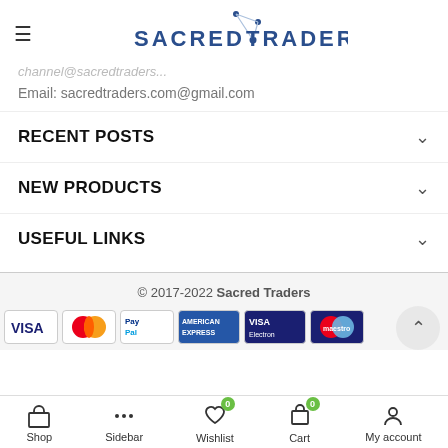Sacred Traders
Email: sacredtraders.com@gmail.com
RECENT POSTS
NEW PRODUCTS
USEFUL LINKS
© 2017-2022 Sacred Traders
[Figure (other): Payment method logos: Visa, Mastercard, PayPal, American Express, Visa Electron, Maestro]
Shop  Sidebar  Wishlist 0  Cart 0  My account